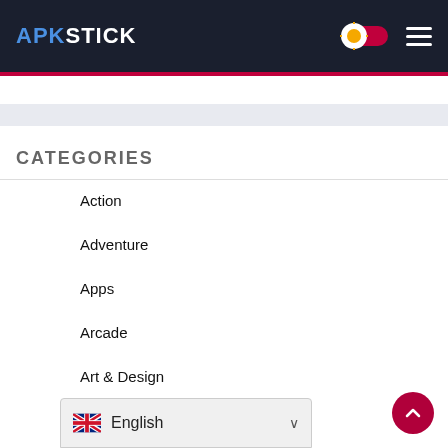APKSTICK
CATEGORIES
Action
Adventure
Apps
Arcade
Art & Design
B... (partially visible)
English